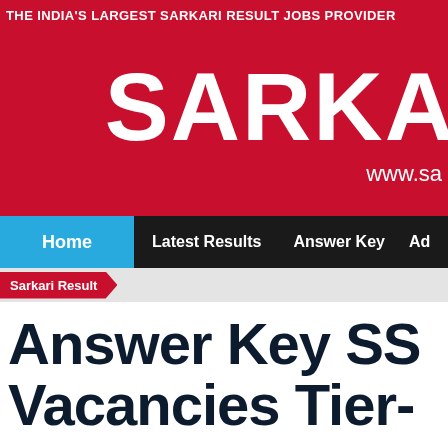THE INDIA'S LARGEST SARKARI RESULT JOBS PROVIDER
[Figure (logo): Sarkari Result website logo — large bold white text 'SARKA' on crimson red background with URL 'www.sa' visible]
Home | Latest Results | Answer Key | Ad
Sarkari Result
Answer Key SS Vacancies Tier-